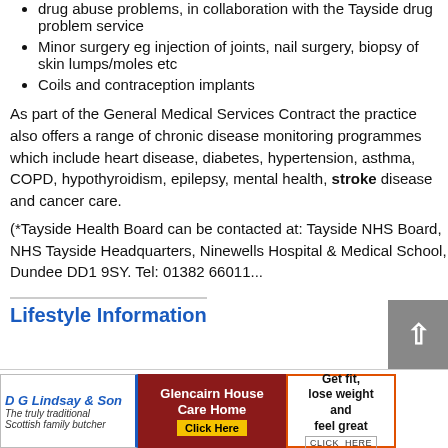drug abuse problems, in collaboration with the Tayside drug problem service
Minor surgery eg injection of joints, nail surgery, biopsy of skin lumps/moles etc
Coils and contraception implants
As part of the General Medical Services Contract the practice also offers a range of chronic disease monitoring programmes which include heart disease, diabetes, hypertension, asthma, COPD, hypothyroidism, epilepsy, mental health, stroke disease and cancer care.
(*Tayside Health Board can be contacted at: Tayside NHS Board, NHS Tayside Headquarters, Ninewells Hospital & Medical School, Dundee DD1 9SY. Tel: 01382 66011...
Lifestyle Information
[Figure (other): Advertisement: D G Lindsay & Son - The truly traditional Scottish family butcher]
[Figure (other): Advertisement: Glencairn House Care Home - Click Here]
[Figure (other): Advertisement: Get fit, lose weight and feel great - CLICK HERE]